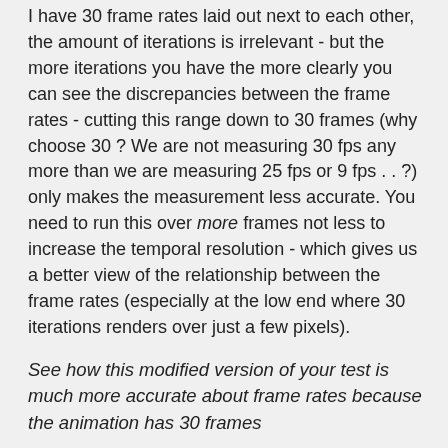I have 30 frame rates laid out next to each other, the amount of iterations is irrelevant - but the more iterations you have the more clearly you can see the discrepancies between the frame rates - cutting this range down to 30 frames (why choose 30 ? We are not measuring 30 fps any more than we are measuring 25 fps or 9 fps . . ?) only makes the measurement less accurate. You need to run this over more frames not less to increase the temporal resolution - which gives us a better view of the relationship between the frame rates (especially at the low end where 30 iterations renders over just a few pixels).
See how this modified version of your test is much more accurate about frame rates because the animation has 30 frames
I can't see how it is more accurate ? It shows the same disparity between the frame rates, but to a lesser degree ?
In the long run , all the aligned lines lose the sync , and